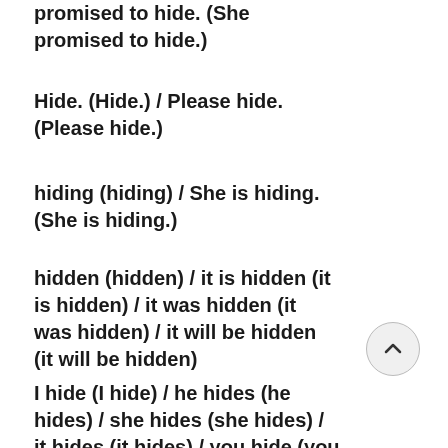promised to hide. (She promised to hide.)
Hide. (Hide.) / Please hide. (Please hide.)
hiding (hiding) / She is hiding. (She is hiding.)
hidden (hidden) / it is hidden (it is hidden) / it was hidden (it was hidden) / it will be hidden (it will be hidden)
I hide (I hide) / he hides (he hides) / she hides (she hides) / it hides (it hides) / you hide (you